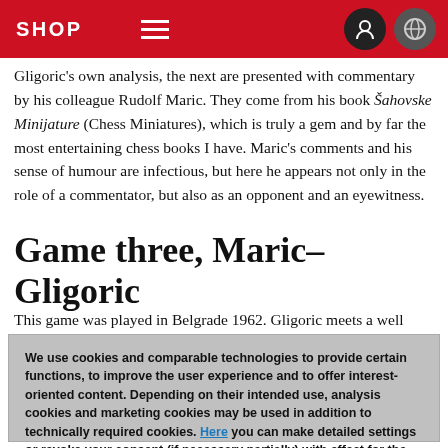SHOP
Gligoric's own analysis, the next are presented with commentary by his colleague Rudolf Maric. They come from his book Šahovske Minijature (Chess Miniatures), which is truly a gem and by far the most entertaining chess books I have. Maric's comments and his sense of humour are infectious, but here he appears not only in the role of a commentator, but also as an opponent and an eyewitness.
Game three, Maric–Gligoric
This game was played in Belgrade 1962. Gligoric meets a well
We use cookies and comparable technologies to provide certain functions, to improve the user experience and to offer interest-oriented content. Depending on their intended use, analysis cookies and marketing cookies may be used in addition to technically required cookies. Here you can make detailed settings or revoke your consent (if necessary partially) with effect for the future. Further information can be found in our data protection declaration.